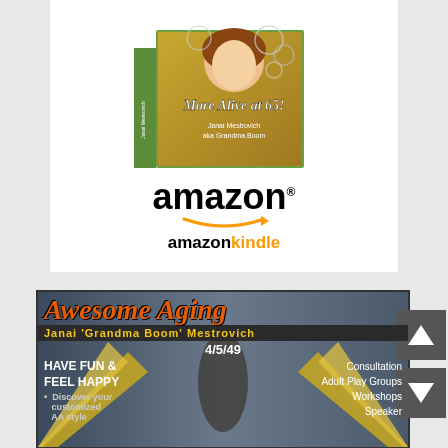[Figure (photo): Book cover for 'More Alive at 65!' by Janai Mestrovich aka Grandma Boom, showing an illustrated woman with curly hair blowing bubbles containing coins, with a green book spine]
[Figure (logo): Amazon logo in black text with orange arrow swoosh, followed by 'amazon kindle' text in black and orange]
[Figure (photo): Awesome Aging advertisement featuring Janai 'Grandma Boom' Mestrovich dancing with gold fans, wearing floral headdress. Text includes 'AWESOME AGING', 'JANAI GRANDMA BOOM MESTROVICH', '4/5/49', 'HAVE FUN & FEEL HAPPY', 'Discover your customized AA style', 'Consultation', 'Adult Play Groups', 'Workshops', 'Speaker']